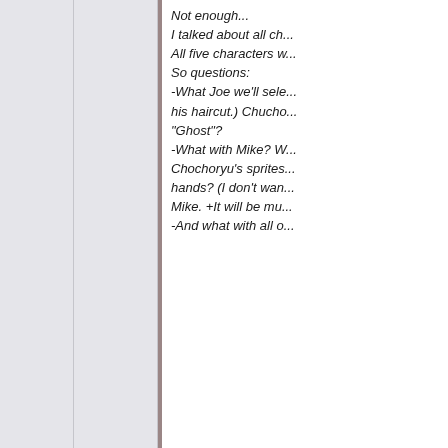Not enough... I talked about all ch... All five characters w... So questions: -What Joe we'll sele... his haircut.) Chucho... "Ghost"? -What with Mike? W... Chochoryu's sprites... hands? (I don't wan... Mike. +It will be mu... -And what with all o...
-About Joe I would like... with the different haircu... continue making the sp... the project, for complet... made a good and hard... -About Mike I understo... new sprites or pay for n... Retsu, Lee, and Geki s... Chuchoryu's sprites. -With the rest only we...